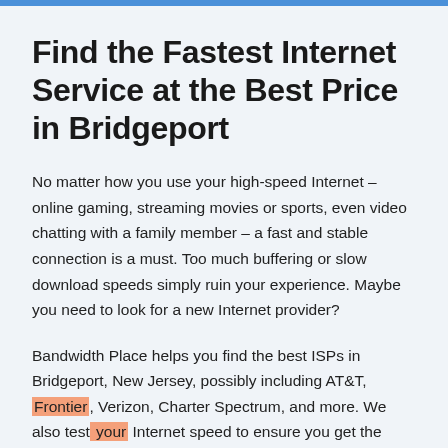Find the Fastest Internet Service at the Best Price in Bridgeport
No matter how you use your high-speed Internet – online gaming, streaming movies or sports, even video chatting with a family member – a fast and stable connection is a must. Too much buffering or slow download speeds simply ruin your experience. Maybe you need to look for a new Internet provider?
Bandwidth Place helps you find the best ISPs in Bridgeport, New Jersey, possibly including AT&T, Frontier, Verizon, Charter Spectrum, and more. We also test your Internet speed to ensure you get the bandwidth you paid